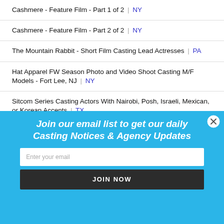Cashmere - Feature Film - Part 1 of 2 | NY
Cashmere - Feature Film - Part 2 of 2 | NY
The Mountain Rabbit - Short Film Casting Lead Actresses | PA
Hat Apparel FW Season Photo and Video Shoot Casting M/F Models - Fort Lee, NJ | NY
Sitcom Series Casting Actors With Nairobi, Posh, Israeli, Mexican, or Korean Accents | TX
[Figure (other): Email signup modal overlay with sky blue background. Contains bold italic white text 'Join our email list to get our daily Casting Notices & Agency Updates', a white email input field with placeholder 'Enter your email', a dark 'JOIN NOW' button, and a close (X) button in the top right corner.]